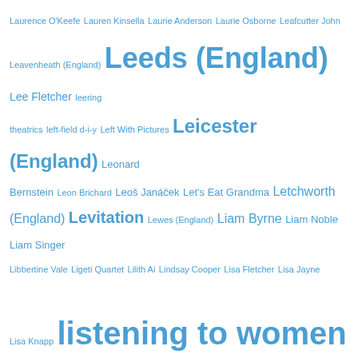[Figure (infographic): Tag cloud of music-related terms and locations, rendered in varying blue font sizes. Larger terms indicate higher frequency/importance. Terms include: Laurence O'Keefe, Lauren Kinsella, Laurie Anderson, Laurie Osborne, Leafcutter John, Leavenheath (England), Leeds (England), Lee Fletcher, leering theatrics, left-field d-i-y, Left With Pictures, Leicester (England), Leonard Bernstein, Leon Brichard, Leoš Janáček, Let's Eat Grandma, Letchworth (England), Levitation, Lewes (England), Liam Byrne, Liam Noble, Liam Singer, Libbertine Vale, Ligeti Quartet, Lilith Ai, Lindsay Cooper, Lisa Fletcher, Lisa Jayne, Lisa Knapp, listening to women, little islands of belief, live concert recordings, live concerts, Liverpool (England), lo-fi, Lobelia Lawson, London (England), London Composers Forum, London Contemporary Music Festival (event), London Improvisers Orchestra, London Jazz Festival (event), London Philharmonic Orchestra, Lonesome Cowboys From Hell, Loose Tubes, Lore Lixenberg, Lorkin O'Reilly, Los Angeles (USA), Lost Crowns, Louis Barabbas, Louis Barrabas, Low Low Low La La La Love Love Love, LSO St Luke's (venue) - St Luke's - London, Lubomyr Melnyk, Luciano Berio, Lucy Claire, Lucy Farrell, Lucy Railton, Ludwig]